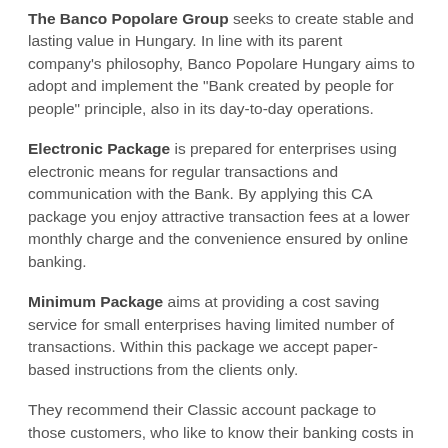The Banco Popolare Group seeks to create stable and lasting value in Hungary. In line with its parent company's philosophy, Banco Popolare Hungary aims to adopt and implement the "Bank created by people for people" principle, also in its day-to-day operations.
Electronic Package is prepared for enterprises using electronic means for regular transactions and communication with the Bank. By applying this CA package you enjoy attractive transaction fees at a lower monthly charge and the convenience ensured by online banking.
Minimum Package aims at providing a cost saving service for small enterprises having limited number of transactions. Within this package we accept paper-based instructions from the clients only.
They recommend their Classic account package to those customers, who like to know their banking costs in advance. With this account package, their customers can manage their banking transactions for a permanent, low account keeping